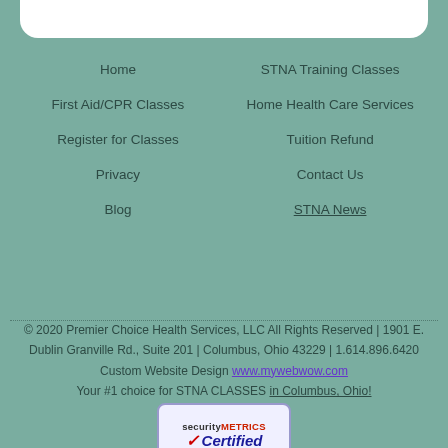Home
STNA Training Classes
First Aid/CPR Classes
Home Health Care Services
Register for Classes
Tuition Refund
Privacy
Contact Us
Blog
STNA News
© 2020 Premier Choice Health Services, LLC All Rights Reserved | 1901 E. Dublin Granville Rd., Suite 201 | Columbus, Ohio 43229 | 1.614.896.6420
Custom Website Design www.mywebwow.com
Your #1 choice for STNA CLASSES in Columbus, Ohio!
[Figure (logo): SecurityMetrics Certified badge - white/blue rounded rectangle badge with SecurityMetrics branding and a red checkmark with 'Certified' in blue italic text]